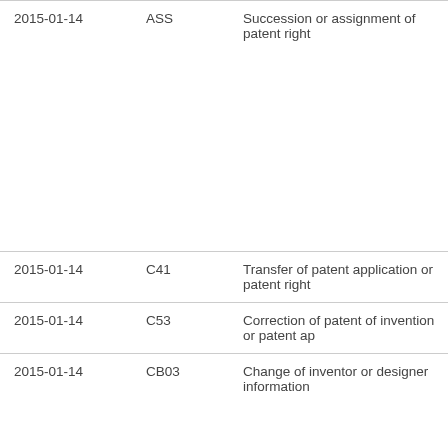| 2015-01-14 | ASS | Succession or assignment of patent right |
| 2015-01-14 | C41 | Transfer of patent application or patent right |
| 2015-01-14 | C53 | Correction of patent of invention or patent ap |
| 2015-01-14 | CB03 | Change of inventor or designer information |
| 2015-01-14 | COR | Change of bibliographic data |